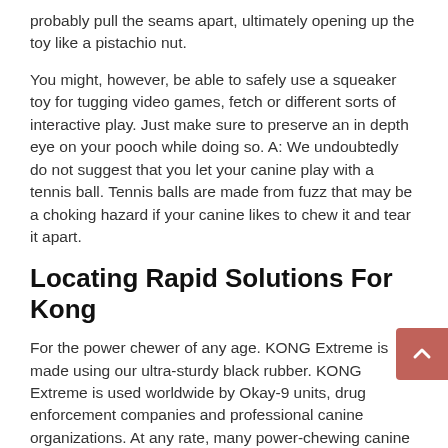probably pull the seams apart, ultimately opening up the toy like a pistachio nut.
You might, however, be able to safely use a squeaker toy for tugging video games, fetch or different sorts of interactive play. Just make sure to preserve an in depth eye on your pooch while doing so. A: We undoubtedly do not suggest that you let your canine play with a tennis ball. Tennis balls are made from fuzz that may be a choking hazard if your canine likes to chew it and tear it apart.
Locating Rapid Solutions For Kong
For the power chewer of any age. KONG Extreme is made using our ultra-sturdy black rubber. KONG Extreme is used worldwide by Okay-9 units, drug enforcement companies and professional canine organizations. At any rate, many power-chewing canine love to play tug of warfare with their peeps, so these are some of the best indestructible dog toys for pit bulls, Rottweilers, and other pups that like to pull.